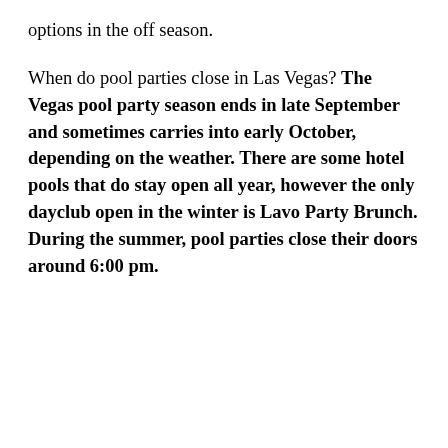options in the off season.
When do pool parties close in Las Vegas? The Vegas pool party season ends in late September and sometimes carries into early October, depending on the weather. There are some hotel pools that do stay open all year, however the only dayclub open in the winter is Lavo Party Brunch. During the summer, pool parties close their doors around 6:00 pm.